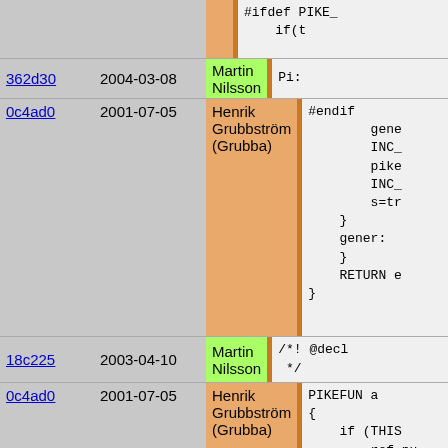| hash | date | author | code |
| --- | --- | --- | --- |
|  |  |  | #ifdef PIKE_...
    if(t |
| 362d30 | 2004-03-08 | Martin Nilsson | Pi: |
| 0c4ad0 | 2001-07-05 | Henrik Grubbström (Grubba) | #endif
        gene
        INC_
        pike
        INC_
        s=tr
    }
    gener:
    }
    RETURN e
} |
| 18c225 | 2003-04-10 | Martin Nilsson | /*! @decl
 */ |
| 0c4ad0 | 2001-07-05 | Henrik Grubbström (Grubba) | PIKEFUN a
{
    if (THIS
        ref_pu
        ref_pu
        f_aggi
    } else i
        push_i
    }
} |